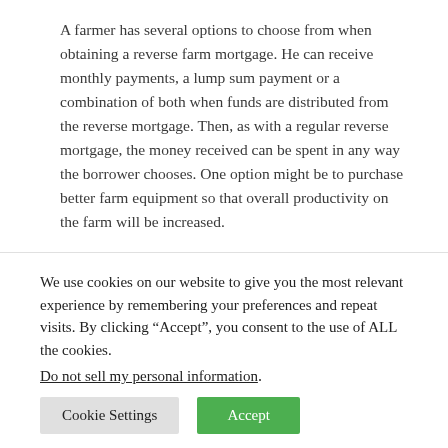A farmer has several options to choose from when obtaining a reverse farm mortgage. He can receive monthly payments, a lump sum payment or a combination of both when funds are distributed from the reverse mortgage. Then, as with a regular reverse mortgage, the money received can be spent in any way the borrower chooses. One option might be to purchase better farm equipment so that overall productivity on the farm will be increased.
With a reverse mortgage a farmer has the funds he needs and doesn't have to worry about losing his
We use cookies on our website to give you the most relevant experience by remembering your preferences and repeat visits. By clicking “Accept”, you consent to the use of ALL the cookies.
Do not sell my personal information.